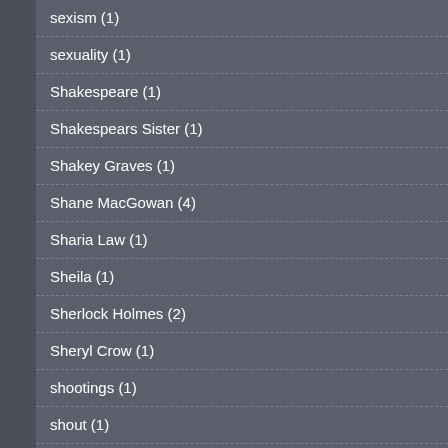sexism (1)
sexuality (1)
Shakespeare (1)
Shakespears Sister (1)
Shakey Graves (1)
Shane MacGowan (4)
Sharia Law (1)
Sheila (1)
Sherlock Holmes (2)
Sheryl Crow (1)
shootings (1)
shout (1)
Shovels and Rope (17)
Show Trials (2)
Sinead O'Connor (1)
Sinn Fein (1)
Slaid Cleaves (1)